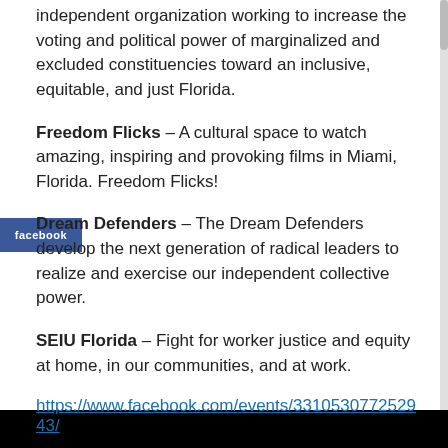independent organization working to increase the voting and political power of marginalized and excluded constituencies toward an inclusive, equitable, and just Florida.
Freedom Flicks – A cultural space to watch amazing, inspiring and provoking films in Miami, Florida. Freedom Flicks!
Dream Defenders – The Dream Defenders develop the next generation of radical leaders to realize and exercise our independent collective power.
SEIU Florida – Fight for worker justice and equity at home, in our communities, and at work.
https://www.facebook.com/events/331053077252943/
News, Recent Events  permalink